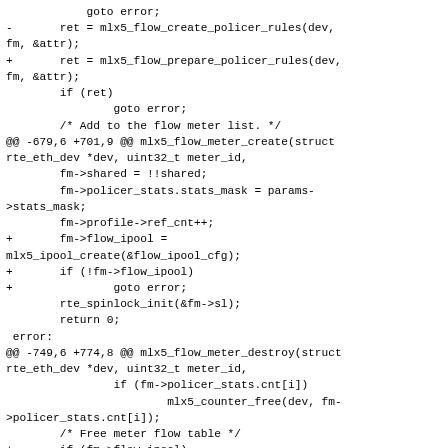goto error;
-       ret = mlx5_flow_create_policer_rules(dev,
fm, &attr);
+       ret = mlx5_flow_prepare_policer_rules(dev,
fm, &attr);
        if (ret)
                goto error;
        /* Add to the flow meter list. */
@@ -679,6 +701,9 @@ mlx5_flow_meter_create(struct
rte_eth_dev *dev, uint32_t meter_id,
        fm->shared = !!shared;
        fm->policer_stats.stats_mask = params-
>stats_mask;
        fm->profile->ref_cnt++;
+       fm->flow_ipool =
mlx5_ipool_create(&flow_ipool_cfg);
+       if (!fm->flow_ipool)
+               goto error;
        rte_spinlock_init(&fm->sl);
        return 0;
 error:
@@ -749,6 +774,8 @@ mlx5_flow_meter_destroy(struct
rte_eth_dev *dev, uint32_t meter_id,
                if (fm->policer_stats.cnt[i])
                        mlx5_counter_free(dev, fm-
>policer_stats.cnt[i]);
        /* Free meter flow table */
+       if (fm->flow_ipool)
+               mlx5_ipool_destroy(fm-
>flow_ipool);